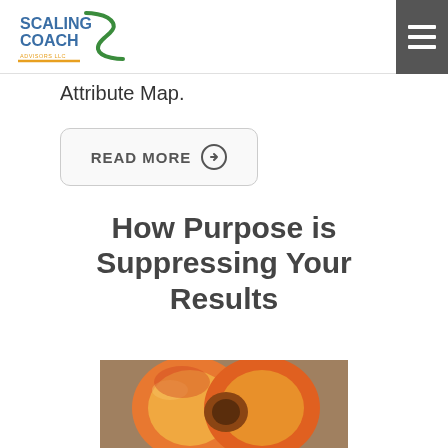[Figure (logo): Scaling Coach logo with text and swoosh graphic in blue, green and yellow]
Attribute Map.
READ MORE →
How Purpose is Suppressing Your Results
[Figure (photo): Cross-section of a peach or nectarine showing pit/seed, warm orange and red tones]